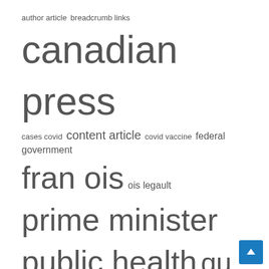[Figure (infographic): Tag cloud with terms of varying sizes: author article, breadcrumb links, canadian press, cases covid, content article, covid vaccine, federal government, fran ois, ois legault, prime minister, public health, qu bec, quebec city, quebec government, united states]
Recent Posts
Quebec appoints negotiator to help stalled school bus contract talks
Is a professional retraining in your future? Now may be the time to rethink your Canadian dream
Canada eyes cash for critical minerals in Biden's new climate bill
Largest donation ever to McGill's School of Continuing Studies will establish a